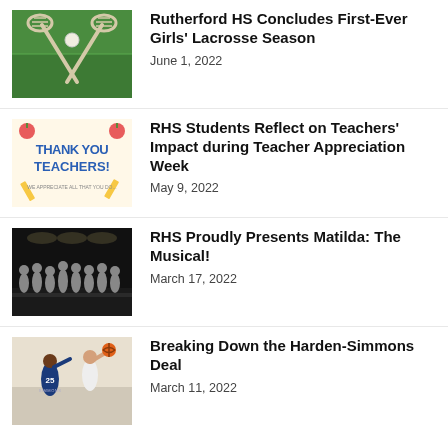[Figure (photo): Two lacrosse sticks crossed on green grass with a white ball]
Rutherford HS Concludes First-Ever Girls' Lacrosse Season
June 1, 2022
[Figure (illustration): Thank You Teachers appreciation card with pencils and apple decorations]
RHS Students Reflect on Teachers' Impact during Teacher Appreciation Week
May 9, 2022
[Figure (photo): Group of students on a dark stage for a musical performance]
RHS Proudly Presents Matilda: The Musical!
March 17, 2022
[Figure (photo): Basketball players including player number 25 in action during a game]
Breaking Down the Harden-Simmons Deal
March 11, 2022